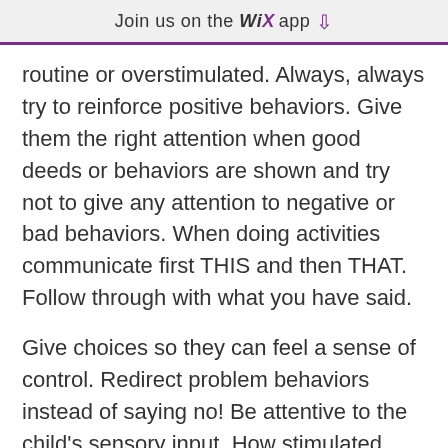Join us on the WiX app ⬇
routine or overstimulated. Always, always try to reinforce positive behaviors. Give them the right attention when good deeds or behaviors are shown and try not to give any attention to negative or bad behaviors. When doing activities communicate first THIS and then THAT. Follow through with what you have said.
Give choices so they can feel a sense of control. Redirect problem behaviors instead of saying no! Be attentive to the child's sensory input. How stimulated they are prior to activity.